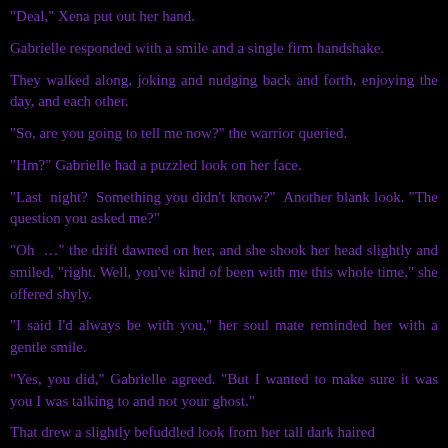"Deal," Xena put out her hand.
Gabrielle responded with a smile and a single firm handshake.
They walked along, joking and nudging back and forth, enjoying the day, and each other.
"So, are you going to tell me now?" the warrior queried.
"Hm?" Gabrielle had a puzzled look on her face.
"Last night? Something you didn't know?" Another blank look. "The question you asked me?"
"Oh …" the drift dawned on her, and she shook her head slightly and smiled, "right. Well, you've kind of been with me this whole time," she offered shyly.
"I said I'd always be with you," her soul mate reminded her with a gentle smile.
"Yes, you did," Gabrielle agreed. "But I wanted to make sure it was you I was talking to and not your ghost."
That drew a slightly befuddled look from her tall dark haired...